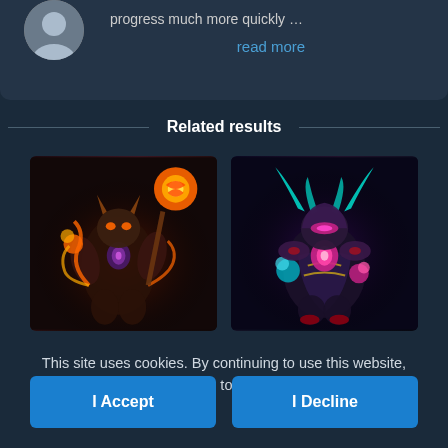progress much more quickly …
read more
Related results
[Figure (illustration): Two fantasy game character illustrations side by side. Left: a fiery demon-like character with orange/gold flames and glowing energy. Right: a dark armored character with cyan/teal horns and purple/pink magical aura.]
This site uses cookies. By continuing to use this website, you agree to their use.
I Accept
I Decline